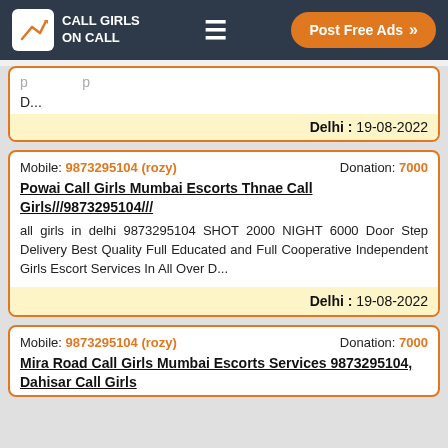Call Girls On Call — Post Free Ads
p D...
Delhi : 19-08-2022
Mobile: 9873295104 (rozy)   Donation: 7000
Powai Call Girls Mumbai Escorts Thnae Call Girls///9873295104///
all girls in delhi 9873295104 SHOT 2000 NIGHT 6000 Door Step Delivery Best Quality Full Educated and Full Cooperative Independent Girls Escort Services In All Over D...
Delhi : 19-08-2022
Mobile: 9873295104 (rozy)   Donation: 7000
Mira Road Call Girls Mumbai Escorts Services 9873295104, Dahisar Call Girls